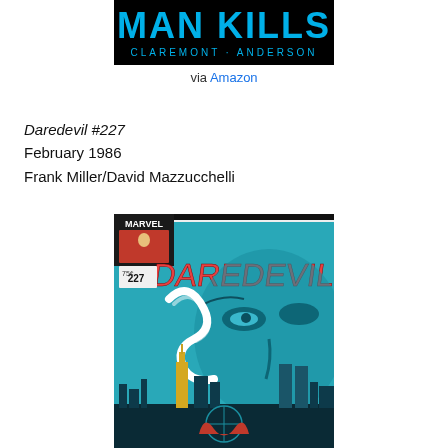[Figure (illustration): Comic book cover or graphic novel cover showing 'MAN KILLS' in large blue letters on black background with 'CLAREMONT · ANDERSON' below in smaller text]
via Amazon
Daredevil #227
February 1986
Frank Miller/David Mazzucchelli
[Figure (illustration): Daredevil #227 comic book cover (Marvel, February 1986) showing Daredevil figure against a teal/blue background with large stylized face and New York City skyline including Empire State Building and Twin Towers]